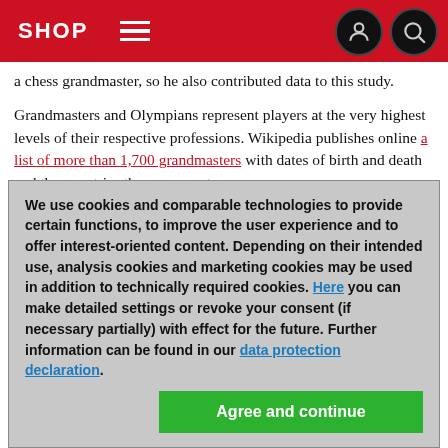SHOP
a chess grandmaster, so he also contributed data to this study.
Grandmasters and Olympians represent players at the very highest levels of their respective professions. Wikipedia publishes online a list of more than 1,700 grandmasters with dates of birth and death and the countries they represent.
The International Olympic Committee website contains information on nearly 130,000 athletes, from which we selected around 15,000 medallists who represented the same countries as the chess players .
We compared chess players' life expectancy with the general
We use cookies and comparable technologies to provide certain functions, to improve the user experience and to offer interest-oriented content. Depending on their intended use, analysis cookies and marketing cookies may be used in addition to technically required cookies. Here you can make detailed settings or revoke your consent (if necessary partially) with effect for the future. Further information can be found in our data protection declaration.